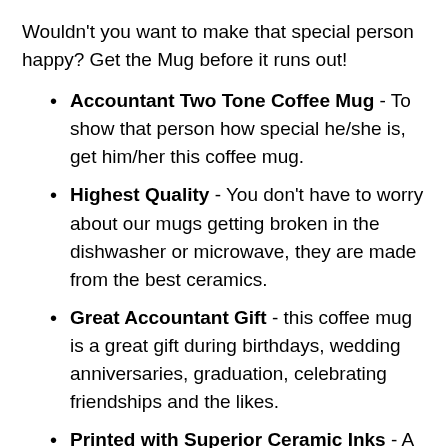Wouldn't you want to make that special person happy? Get the Mug before it runs out!
Accountant Two Tone Coffee Mug - To show that person how special he/she is, get him/her this coffee mug.
Highest Quality - You don't have to worry about our mugs getting broken in the dishwasher or microwave, they are made from the best ceramics.
Great Accountant Gift - this coffee mug is a great gift during birthdays, wedding anniversaries, graduation, celebrating friendships and the likes.
Printed with Superior Ceramic Inks - A Truly Permanent Imprint That Will Never Fade Or Lose Its Glow...